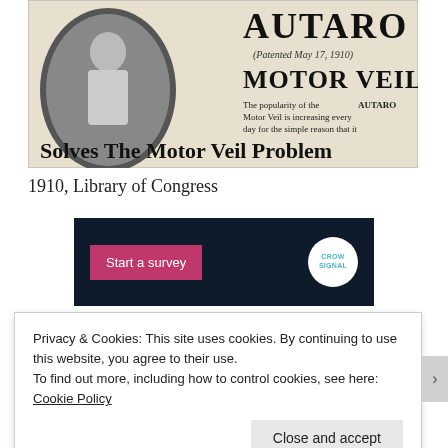[Figure (photo): Vintage newspaper advertisement for AUTARO Motor Veils (Patented May 17, 1910). Shows text 'MOTOR VEILS', 'The popularity of the AUTARO Motor Veil is increasing every day for the simple reason that it', and large text 'Solves The Motor Veil Problem'. Includes an oval photo of a person wearing the veil.]
1910, Library of Congress
[Figure (screenshot): Dark navy survey widget with a pink 'Start a survey' button and a white circular Crowdsignal logo on the right.]
Privacy & Cookies: This site uses cookies. By continuing to use this website, you agree to their use.
To find out more, including how to control cookies, see here: Cookie Policy